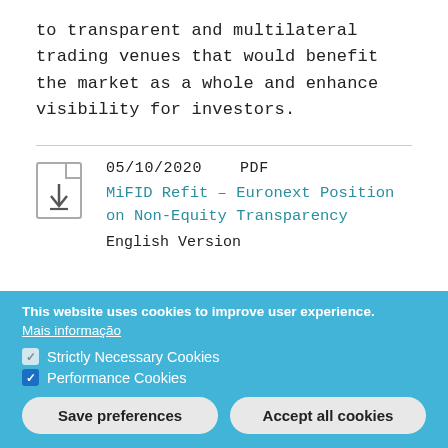to transparent and multilateral trading venues that would benefit the market as a whole and enhance visibility for investors.
05/10/2020   PDF
MiFID Refit – Euronext Position on Non-Equity Transparency
English Version
This website uses cookies to improve user experience.
Mais informação
Strictly Necessary Cookies
Performance Cookies
Save preferences   Accept all cookies